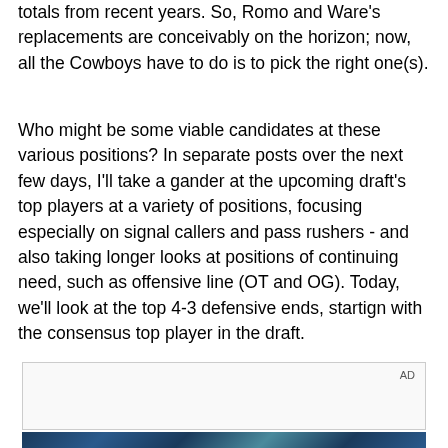totals from recent years. So, Romo and Ware's replacements are conceivably on the horizon; now, all the Cowboys have to do is to pick the right one(s).
Who might be some viable candidates at these various positions? In separate posts over the next few days, I'll take a gander at the upcoming draft's top players at a variety of positions, focusing especially on signal callers and pass rushers - and also taking longer looks at positions of continuing need, such as offensive line (OT and OG). Today, we'll look at the top 4-3 defensive ends, startign with the consensus top player in the draft.
[Figure (other): Advertisement placeholder box with AD label in top right corner]
[Figure (photo): Partial photo strip visible at bottom of page showing dark blue geometric/angular pattern]